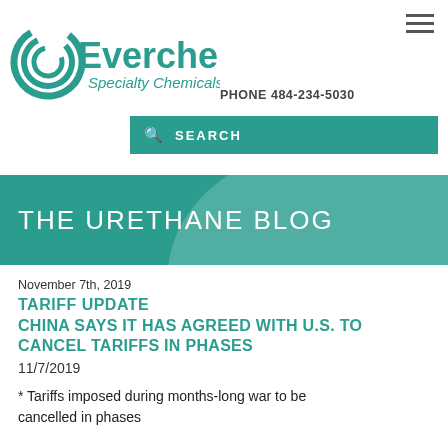[Figure (logo): Everchem Specialty Chemicals logo with teal swirl graphic]
PHONE 484-234-5030
SEARCH
THE URETHANE BLOG
November 7th, 2019
TARIFF UPDATE
CHINA SAYS IT HAS AGREED WITH U.S. TO CANCEL TARIFFS IN PHASES
11/7/2019
* Tariffs imposed during months-long war to be cancelled in phases